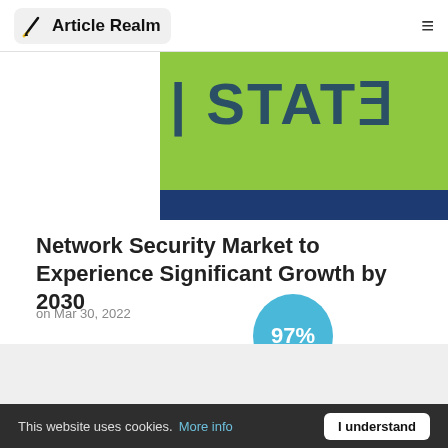Article Realm
[Figure (photo): Partially visible image showing green and dark blue banner with text 'STATE' in dark blue letters on green background]
Network Security Market to Experience Significant Growth by 2030
on Mar 30, 2022
[Figure (infographic): Blue oval/circle badge showing '97%' in white text]
This website uses cookies. More info  I understand